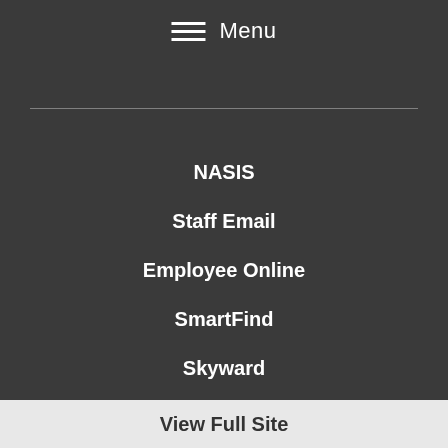Menu
NASIS
Staff Email
Employee Online
SmartFind
Skyward
View Full Site